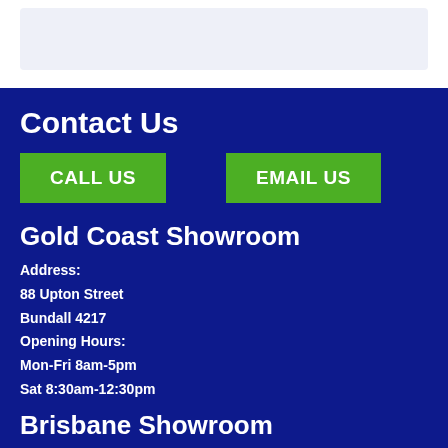[Figure (other): Light blue/grey rectangular banner area at top of page]
Contact Us
CALL US
EMAIL US
Gold Coast Showroom
Address:
88 Upton Street
Bundall 4217
Opening Hours:
Mon-Fri 8am-5pm
Sat 8:30am-12:30pm
Brisbane Showroom